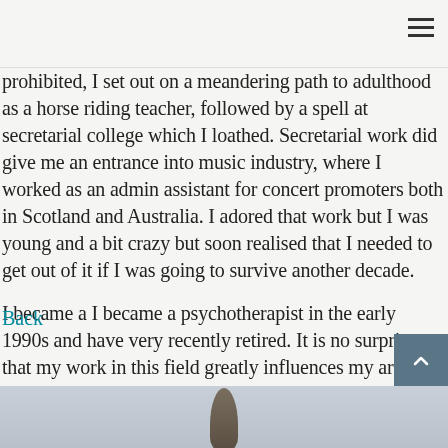prohibited, I set out on a meandering path to adulthood as a horse riding teacher, followed by a spell at secretarial college which I loathed. Secretarial work did give me an entrance into music industry, where I worked as an admin assistant for concert promoters both in Scotland and Australia. I adored that work but I was young and a bit crazy but soon realised that I needed to get out of it if I was going to survive another decade.
I became a I became a psychotherapist in the early 1990s and have very recently retired. It is no surprise that my work in this field greatly influences my art practice.
Back
[Figure (photo): Bottom portion of page showing a sculpture object against a grey-blue background]